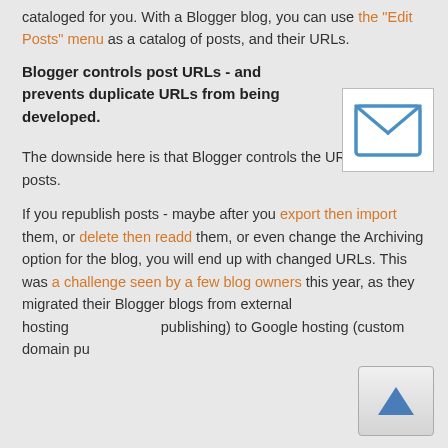cataloged for you. With a Blogger blog, you can use the "Edit Posts" menu as a catalog of posts, and their URLs.
Blogger controls post URLs - and prevents duplicate URLs from being developed.
[Figure (illustration): Email envelope icon - white background with a blue envelope outline and X cross lines]
The downside here is that Blogger controls the URLs of the posts.
If you republish posts - maybe after you export then import them, or delete then readd them, or even change the Archiving option for the blog, you will end up with changed URLs. This was a challenge seen by a few blog owners this year, as they migrated their Blogger blogs from external hosting (FTP publishing) to Google hosting (custom domain pu
[Figure (illustration): Scroll to top button - grey rounded square with a blue triangle arrow pointing up]